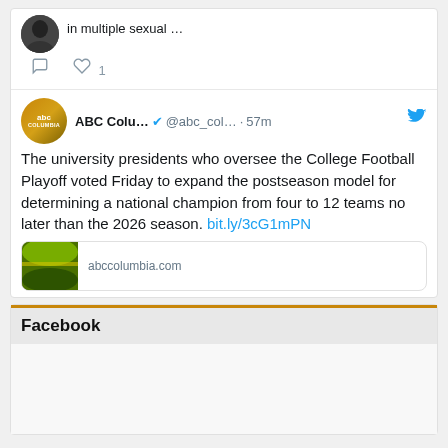in multiple sexual ...
ABC Colu... @abc_col... · 57m
The university presidents who oversee the College Football Playoff voted Friday to expand the postseason model for determining a national champion from four to 12 teams no later than the 2026 season. bit.ly/3cG1mPN
abccolumbia.com
Facebook